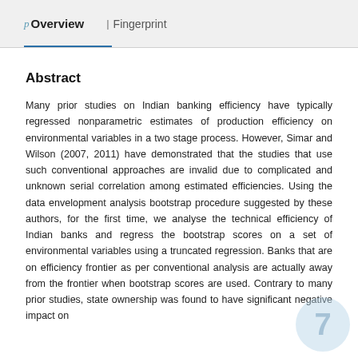p Overview   | Fingerprint
Abstract
Many prior studies on Indian banking efficiency have typically regressed nonparametric estimates of production efficiency on environmental variables in a two stage process. However, Simar and Wilson (2007, 2011) have demonstrated that the studies that use such conventional approaches are invalid due to complicated and unknown serial correlation among estimated efficiencies. Using the data envelopment analysis bootstrap procedure suggested by these authors, for the first time, we analyse the technical efficiency of Indian banks and regress the bootstrap scores on a set of environmental variables using a truncated regression. Banks that are on efficiency frontier as per conventional analysis are actually away from the frontier when bootstrap scores are used. Contrary to many prior studies, state ownership was found to have significant negative impact on